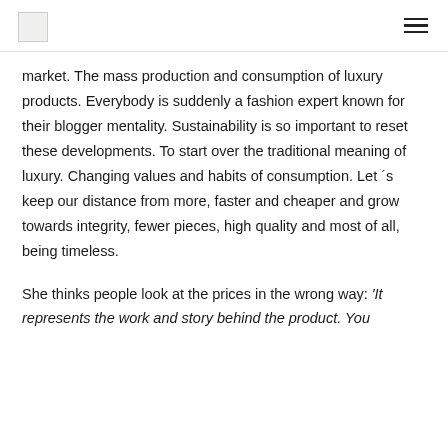[logo] [menu]
market. The mass production and consumption of luxury products. Everybody is suddenly a fashion expert known for their blogger mentality. Sustainability is so important to reset these developments. To start over the traditional meaning of luxury. Changing values and habits of consumption. Let ´s keep our distance from more, faster and cheaper and grow towards integrity, fewer pieces, high quality and most of all, being timeless.
She thinks people look at the prices in the wrong way: 'It represents the work and story behind the product. You